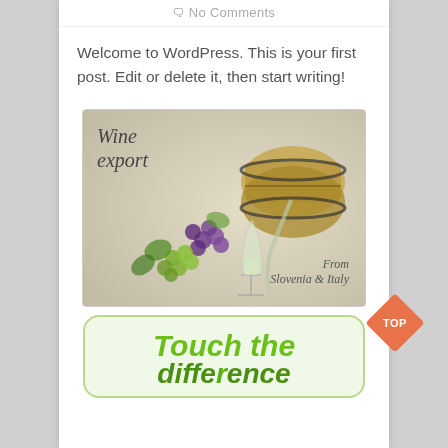No Comments
Welcome to WordPress. This is your first post. Edit or delete it, then start writing!
[Figure (illustration): Wine export promotional image showing a wine glass being filled from a wooden barrel, with green and purple grape clusters and vine leaves. Text reads 'Wine export' and 'From Slovenia & Italy'.]
[Figure (illustration): Green rounded rectangle banner with bold italic green text reading 'Touch the difference']